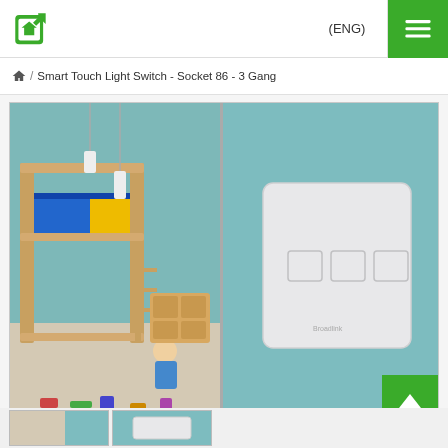[Figure (logo): Smart home app logo - green house/phone icon]
(ENG)
[Figure (other): Green hamburger menu button with three white lines]
🏠 / Smart Touch Light Switch - Socket 86 - 3 Gang
[Figure (photo): Product image showing a children's bedroom with bunk bed, toys, and a child playing on the left half, and a white three-gang smart touch light switch mounted on a teal/blue wall on the right half]
[Figure (other): Green back-to-top button with white upward chevron arrow]
[Figure (photo): Partial thumbnail strip at bottom showing product thumbnails]